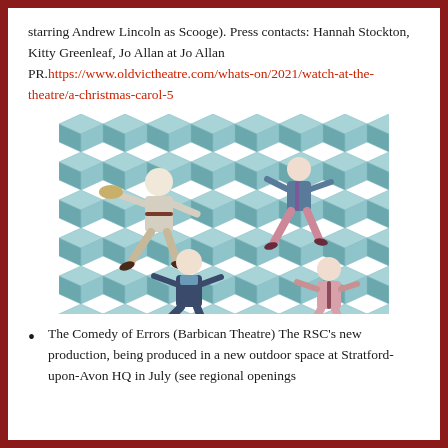starring Andrew Lincoln as Scooge). Press contacts: Hannah Stockton, Kitty Greenleaf, Jo Allan at Jo Allan PR.https://www.oldvictheatre.com/whats-on/2021/watch-at-the-theatre/a-christmas-carol-5
[Figure (photo): Overhead/top-down photograph of four performers on a teal geometric cube-patterned floor, dressed in colourful period-style costumes, posed as if running or falling.]
The Comedy of Errors (Barbican Theatre) The RSC's new production, being produced in a new outdoor space at Stratford-upon-Avon HQ in July (see regional openings